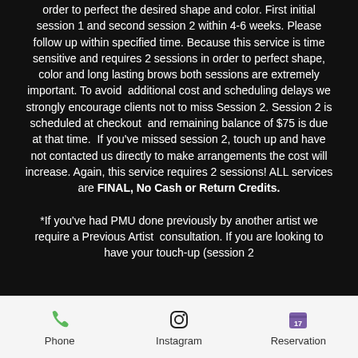order to perfect the desired shape and color. First initial session 1 and second session 2 within 4-6 weeks. Please follow up within specified time. Because this service is time sensitive and requires 2 sessions in order to perfect shape, color and long lasting brows both sessions are extremely important. To avoid additional cost and scheduling delays we strongly encourage clients not to miss Session 2. Session 2 is scheduled at checkout and remaining balance of $75 is due at that time. If you've missed session 2, touch up and have not contacted us directly to make arrangements the cost will increase. Again, this service requires 2 sessions! ALL services are FINAL, No Cash or Return Credits.
*If you've had PMU done previously by another artist we require a Previous Artist consultation. If you are looking to have your touch-up (session 2
Phone  Instagram  Reservation